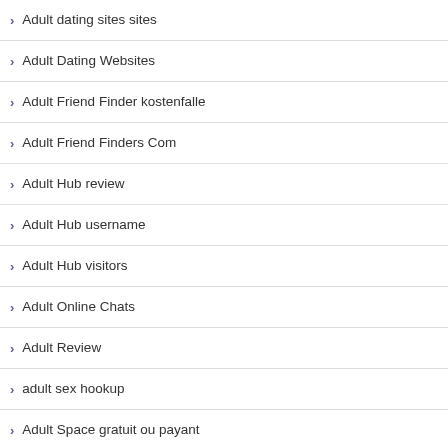Adult dating sites sites
Adult Dating Websites
Adult Friend Finder kostenfalle
Adult Friend Finders Com
Adult Hub review
Adult Hub username
Adult Hub visitors
Adult Online Chats
Adult Review
adult sex hookup
Adult Space gratuit ou payant
Adult Webcam Sites
Adult-Cams Anal Guys XXX Chat Rooms
Adult-Cams Anal Play Web Cams live
Adult-Cams Arab Live XXX Chat